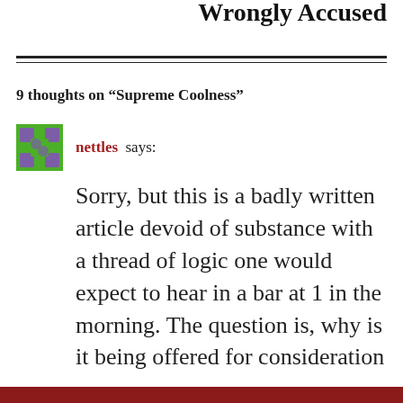Wrongly Accused
9 thoughts on “Supreme Coolness”
nettles says:
Sorry, but this is a badly written article devoid of substance with a thread of logic one would expect to hear in a bar at 1 in the morning. The question is, why is it being offered for consideration